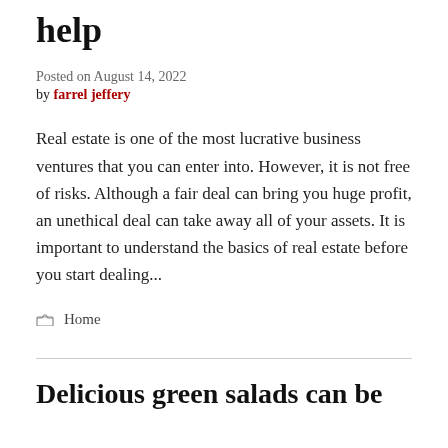help
Posted on August 14, 2022
by farrel jeffery
Real estate is one of the most lucrative business ventures that you can enter into. However, it is not free of risks. Although a fair deal can bring you huge profit, an unethical deal can take away all of your assets. It is important to understand the basics of real estate before you start dealing...
Home
Delicious green salads can be